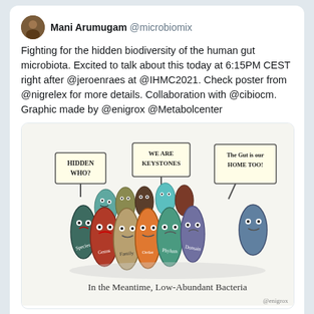Mani Arumugam @microbiomix
Fighting for the hidden biodiversity of the human gut microbiota. Excited to talk about this today at 6:15PM CEST right after @jeroenraes at @IHMC2021. Check poster from @nigrelex for more details. Collaboration with @cibiocm. Graphic made by @enigrox @Metabolcenter
[Figure (illustration): Cartoon illustration of colorful gut bacteria characters holding protest signs reading 'Hidden Who?', 'We Are Keystones', and 'The Gut is our Home Too!'. Text below reads 'In the Meantime, Low-Abundant Bacteria'. Signed @enigrox.]
3:26 PM · Jun 28, 2021
8  Reply  Copy link